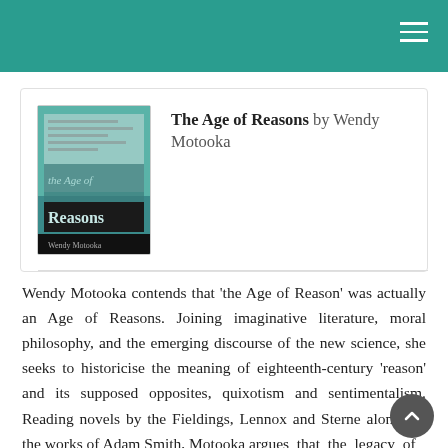The Age of Reasons by Wendy Motooka
[Figure (illustration): Book cover of 'The Age of Reasons' by Wendy Motooka, showing teal and dark tones with partial text visible]
Wendy Motooka contends that 'the Age of Reason' was actually an Age of Reasons. Joining imaginative literature, moral philosophy, and the emerging discourse of the new science, she seeks to historicise the meaning of eighteenth-century 'reason' and its supposed opposites, quixotism and sentimentalism. Reading novels by the Fieldings, Lennox and Sterne alongside the works of Adam Smith, Motooka argues that the legacy of